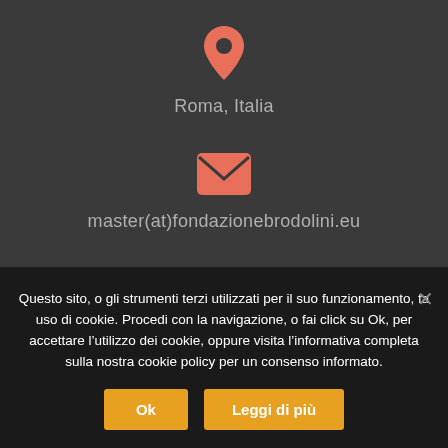[Figure (illustration): Salmon/coral colored map pin location icon]
Roma, Italia
[Figure (illustration): Salmon/coral colored envelope email icon]
master(at)fondazionebrodolini.eu
[Figure (illustration): Salmon/coral colored globe with cursor icon]
Fondazione Giacomo Brodolini
Questo sito, o gli strumenti terzi utilizzati per il suo funzionamento, fa uso di cookie. Procedi con la navigazione, o fai click su Ok, per accettare l’utilizzo dei cookie, oppure visita l’informativa completa sulla nostra cookie policy per un consenso informato.
Ok
Leggi di più